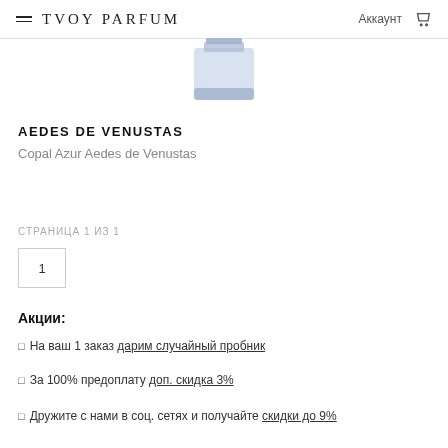TVOY PARFUM  Аккаунт
[Figure (photo): Perfume bottle (Copal Azur Aedes de Venustas) - blue/transparent glass bottle partially visible at top]
AEDES DE VENUSTAS
Copal Azur Aedes de Venustas
СТРАНИЦА 1 ИЗ 1
1
Акции:
На ваш 1 заказ дарим случайный пробник
За 100% предоплату доп. скидка 3%
Дружите с нами в соц. сетях и получайте скидки до 9%